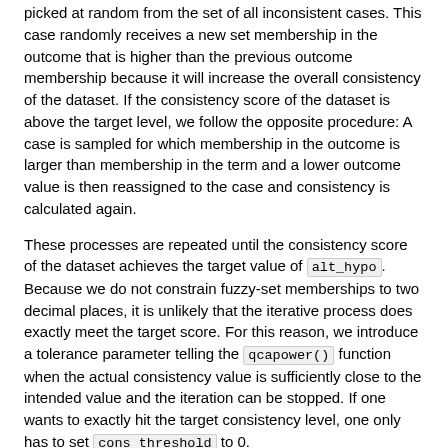picked at random from the set of all inconsistent cases. This case randomly receives a new set membership in the outcome that is higher than the previous outcome membership because it will increase the overall consistency of the dataset. If the consistency score of the dataset is above the target level, we follow the opposite procedure: A case is sampled for which membership in the outcome is larger than membership in the term and a lower outcome value is then reassigned to the case and consistency is calculated again.
These processes are repeated until the consistency score of the dataset achieves the target value of alt_hypo. Because we do not constrain fuzzy-set memberships to two decimal places, it is unlikely that the iterative process does exactly meet the target score. For this reason, we introduce a tolerance parameter telling the qcapower() function when the actual consistency value is sufficiently close to the intended value and the iteration can be stopped. If one wants to exactly hit the target consistency level, one only has to set cons_threshold to 0.
If you want to leave the default parameters as they are, you can, for example, estimate power for H1=1, H0=0.85 and n=15 with one line. The execution of qcapower() can take some time,